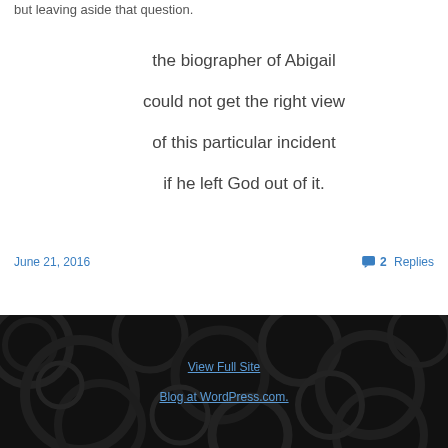but leaving aside that question.
the biographer of Abigail

could not get the right view

of this particular incident

if he left God out of it.
June 21, 2016
2 Replies
View Full Site
Blog at WordPress.com.